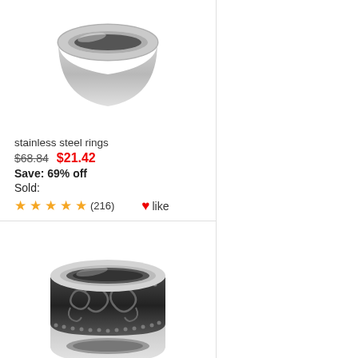[Figure (photo): Silver stainless steel plain band ring, partially cropped at top]
stainless steel rings
$68.84   $21.42
Save: 69% off
Sold:
★★★★★ (216)  ❤like
[Figure (photo): Black and silver decorative stainless steel ring with ornate pattern]
stainless steel rings
$54.50   $14.25
Save: 74% off
Sold: